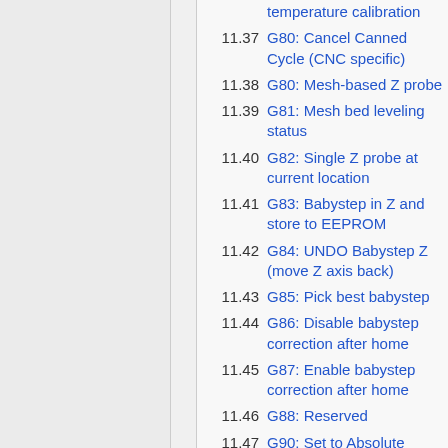11.37 G80: Cancel Canned Cycle (CNC specific)
11.38 G80: Mesh-based Z probe
11.39 G81: Mesh bed leveling status
11.40 G82: Single Z probe at current location
11.41 G83: Babystep in Z and store to EEPROM
11.42 G84: UNDO Babystep Z (move Z axis back)
11.43 G85: Pick best babystep
11.44 G86: Disable babystep correction after home
11.45 G87: Enable babystep correction after home
11.46 G88: Reserved
11.47 G90: Set to Absolute Positioning